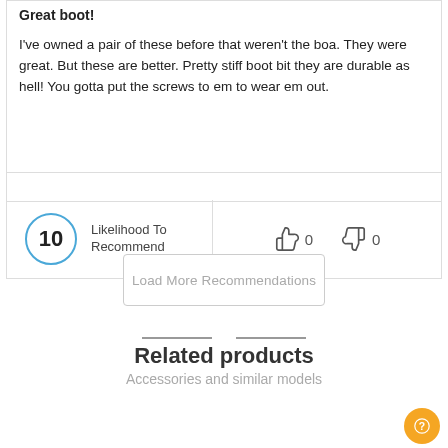Great boot!
I've owned a pair of these before that weren't the boa. They were great. But these are better. Pretty stiff boot bit they are durable as hell! You gotta put the screws to em to wear em out.
10  Likelihood To Recommend    👍 0   👎 0
Load More Recommendations
Related products
Accessories and similar models